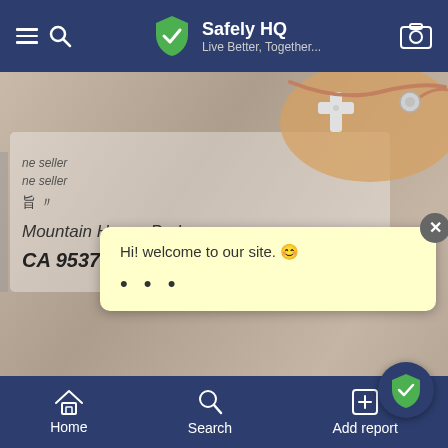Safely HQ - Live Better, Together...
[Figure (photo): Photo of a shipping package showing partial address: Mountain House Parkway, CA 95377, with jewelry (cross charm bracelet) visible in the upper right corner]
Hi! welcome to our site. 😊
...
Helpful   Add report   Follow   Sh...
Home   Search   Add report